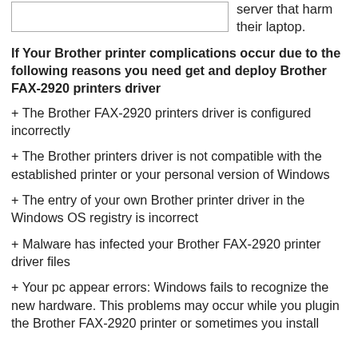server that harm their laptop.
If Your Brother printer complications occur due to the following reasons you need get and deploy Brother FAX-2920 printers driver
+ The Brother FAX-2920 printers driver is configured incorrectly
+ The Brother printers driver is not compatible with the established printer or your personal version of Windows
+ The entry of your own Brother printer driver in the Windows OS registry is incorrect
+ Malware has infected your Brother FAX-2920 printer driver files
+ Your pc appear errors: Windows fails to recognize the new hardware. This problems may occur while you plugin the Brother FAX-2920 printer or sometimes you install